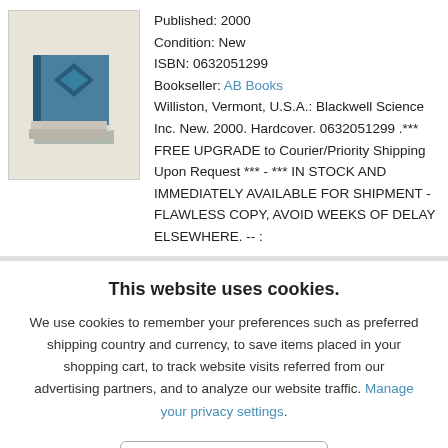[Figure (illustration): Book cover thumbnail showing stacked books with blue and grey tones on a beige background]
Published: 2000
Condition: New
ISBN: 0632051299
Bookseller: AB Books
Williston, Vermont, U.S.A.: Blackwell Science Inc. New. 2000. Hardcover. 0632051299 .*** FREE UPGRADE to Courier/Priority Shipping Upon Request *** - *** IN STOCK AND IMMEDIATELY AVAILABLE FOR SHIPMENT - FLAWLESS COPY, AVOID WEEKS OF DELAY ELSEWHERE. -- :
This website uses cookies.
We use cookies to remember your preferences such as preferred shipping country and currency, to save items placed in your shopping cart, to track website visits referred from our advertising partners, and to analyze our website traffic. Manage your privacy settings.
AGREE AND CLOSE